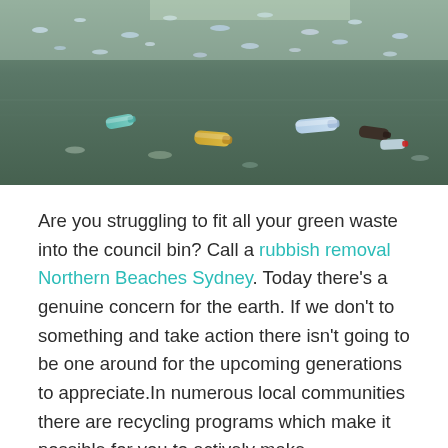[Figure (photo): Aerial/ground-level photo of plastic bottles and rubbish floating on the surface of dark water]
Are you struggling to fit all your green waste into the council bin? Call a rubbish removal Northern Beaches Sydney. Today there's a genuine concern for the earth. If we don't to something and take action there isn't going to be one around for the upcoming generations to appreciate.In numerous local communities there are recycling programs which make it possible for you to actively make contributions towards that objective.If you're asking yourself if your local community does and if you can help, have a look on rubbish day. If at the time your garbage is picked up you see diverse